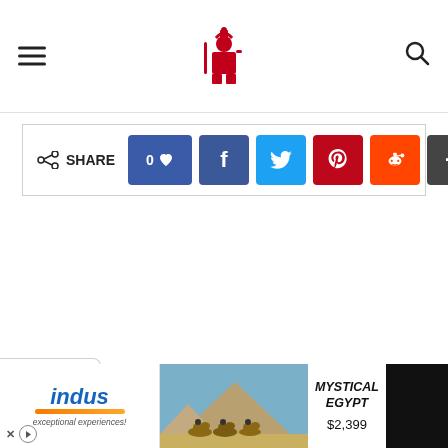Website header with hamburger menu, logo, and search icon
[Figure (infographic): Share bar with like button (0), Facebook, Twitter, Pinterest, Reddit, and more buttons]
[Figure (infographic): Collapse/chevron tab on left side]
[Figure (infographic): Ad banner: Indus travel ad with 'MYSTICAL EGYPT $2,399' and pyramid photo]